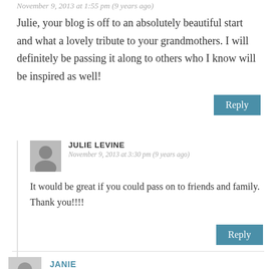November 9, 2013 at 1:55 pm (9 years ago)
Julie, your blog is off to an absolutely beautiful start and what a lovely tribute to your grandmothers. I will definitely be passing it along to others who I know will be inspired as well!
Reply
JULIE LEVINE
November 9, 2013 at 3:30 pm (9 years ago)
It would be great if you could pass on to friends and family. Thank you!!!!
Reply
JANIE
November 9, 2013 at 6:56 pm (9 years ago)